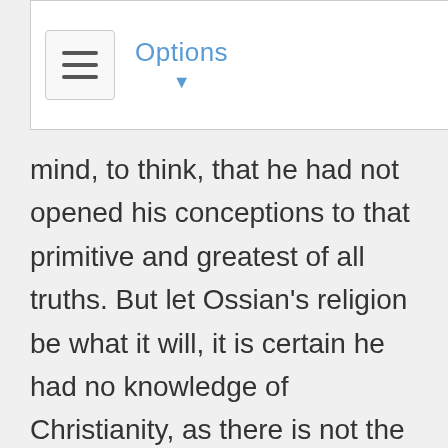Options
mind, to think, that he had not opened his conceptions to that primitive and greatest of all truths. But let Ossian's religion be what it will, it is certain he had no knowledge of Christianity, as there is not the least allusion to it, or any of its rites, in his poems; which absolutely fixes him to an æra prior to the introduction of that religion. The persecution begun by Dioclesian, in the year 303, is the most probable